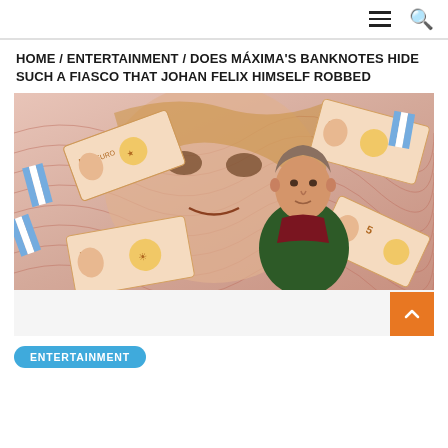☰ 🔍
HOME / ENTERTAINMENT / DOES MÁXIMA'S BANKNOTES HIDE SUCH A FIASCO THAT JOHAN FELIX HIMSELF ROBBED
[Figure (photo): A man in a green sweater and dark red shirt standing in front of a collage background featuring Máxima's face and multiple 50 Euro banknotes with Argentine flag motifs scattered around.]
ENTERTAINMENT